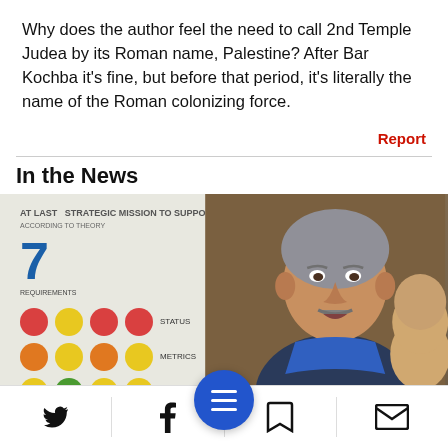Why does the author feel the need to call 2nd Temple Judea by its Roman name, Palestine? After Bar Kochba it's fine, but before that period, it's literally the name of the Roman colonizing force.
Report
In the News
[Figure (photo): A man with gray hair and mustache speaking in front of a whiteboard showing colored circles and the number 7, with another person partially visible on the right.]
Navigation bar with Twitter, Facebook, menu, bookmark, and email icons